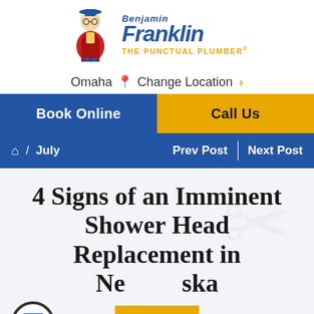[Figure (logo): Benjamin Franklin The Punctual Plumber logo with cartoon figure]
Omaha 📍 Change Location >
Book Online
Call Us
⌂ / July   Prev Post | Next Post
4 Signs of an Imminent Shower Head Replacement in Nebraska